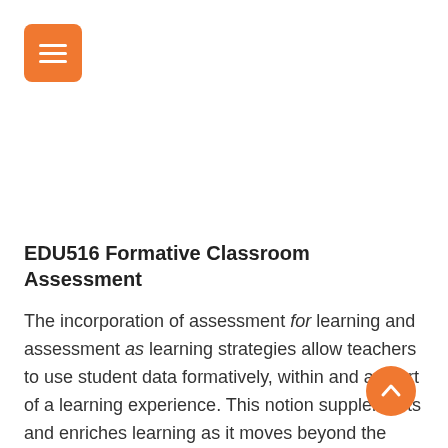[Figure (other): Orange square icon with three horizontal white lines (hamburger menu icon) in top-left corner]
EDU516 Formative Classroom Assessment
The incorporation of assessment for learning and assessment as learning strategies allow teachers to use student data formatively, within and as part of a learning experience. This notion supplements and enriches learning as it moves beyond the traditional understanding of assessment as a summative process at the end of a learning experience. Students will
[Figure (other): Orange circular scroll-to-top button with upward chevron arrow, positioned bottom-right]